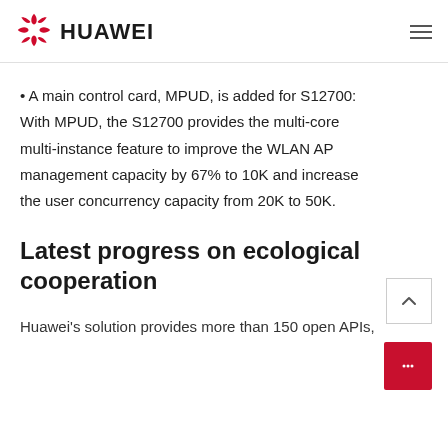HUAWEI
A main control card, MPUD, is added for S12700: With MPUD, the S12700 provides the multi-core multi-instance feature to improve the WLAN AP management capacity by 67% to 10K and increase the user concurrency capacity from 20K to 50K.
Latest progress on ecological cooperation
Huawei's solution provides more than 150 open APIs,